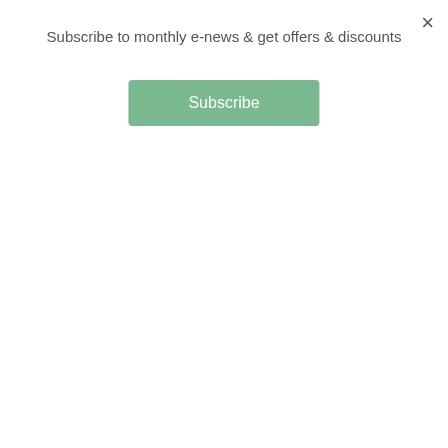Subscribe to monthly e-news & get offers & discounts
Subscribe
[Figure (photo): Greeting card on green background - exam results card with cart and heart icons]
SS1950 – Great Exam Results – you are officially entitled to brag
£2.75
[Figure (photo): Greeting card on wood background - WT17 Superstar card with cart and heart icons]
WT17 – Superstar
£2.75
[Figure (photo): Greeting card on pink background - Well done you clever little sausage card with sausage illustration]
[Figure (photo): Greeting card on beige background - Follow your dreams card with rainbow illustration]